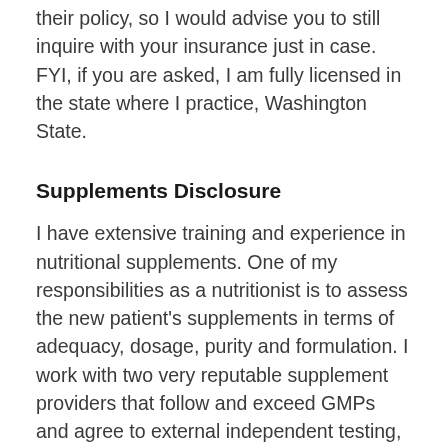their policy, so I would advise you to still inquire with your insurance just in case. FYI, if you are asked, I am fully licensed in the state where I practice, Washington State.
Supplements Disclosure
I have extensive training and experience in nutritional supplements. One of my responsibilities as a nutritionist is to assess the new patient's supplements in terms of adequacy, dosage, purity and formulation. I work with two very reputable supplement providers that follow and exceed GMPs and agree to external independent testing, which I explain in depth on the Supplements page on my website. I am compensated a % of the